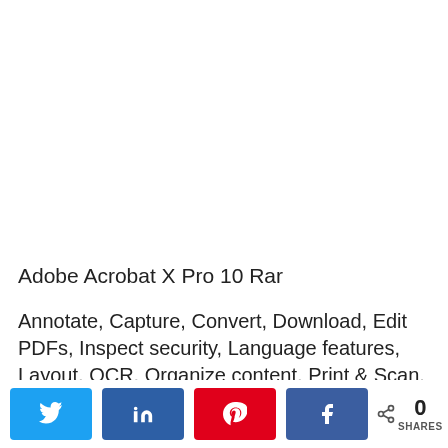Adobe Acrobat X Pro 10 Rar
Annotate, Capture, Convert, Download, Edit PDFs, Inspect security, Language features, Layout, OCR, Organize content, Print & Scan. Moreover, .